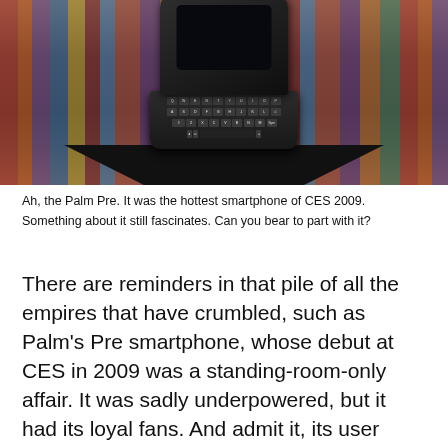[Figure (photo): A Palm Pre smartphone with physical QWERTY keyboard, propped up on a triangular stand resembling a tent/easel shape, set against a colorful striped textile background.]
Ah, the Palm Pre. It was the hottest smartphone of CES 2009. Something about it still fascinates. Can you bear to part with it?
There are reminders in that pile of all the empires that have crumbled, such as Palm's Pre smartphone, whose debut at CES in 2009 was a standing-room-only affair. It was sadly underpowered, but it had its loyal fans. And admit it, its user interface, the WebOS shell, still seems in